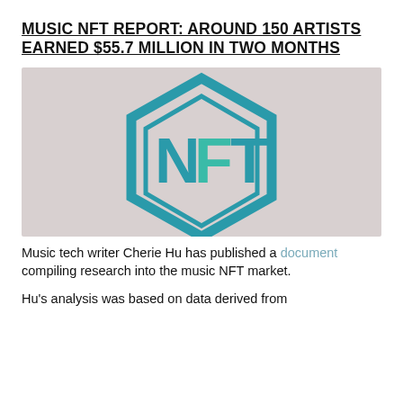MUSIC NFT REPORT: AROUND 150 ARTISTS EARNED $55.7 MILLION IN TWO MONTHS
[Figure (logo): NFT hexagon logo with teal/turquoise outline and letters N, F, T on a light gray background]
Music tech writer Cherie Hu has published a document compiling research into the music NFT market.
Hu's analysis was based on data derived from